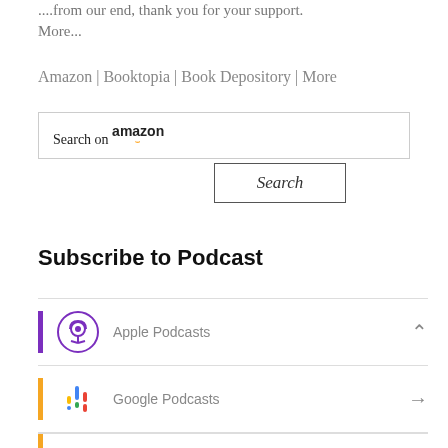...from our end, thank you for your support. More...
Amazon | Booktopia | Book Depository | More
[Figure (screenshot): Search box with 'Search on amazon' label inside a bordered input field, followed by a 'Search' button with border]
Subscribe to Podcast
Apple Podcasts
Google Podcasts